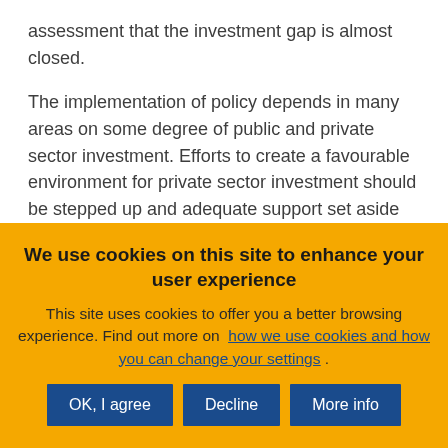assessment that the investment gap is almost closed. The implementation of policy depends in many areas on some degree of public and private sector investment. Efforts to create a favourable environment for private sector investment should be stepped up and adequate support set aside from the EU budget. Completion of the Energy Union and international trade agreements, for example, could offer new
We use cookies on this site to enhance your user experience
This site uses cookies to offer you a better browsing experience. Find out more on how we use cookies and how you can change your settings.
OK, I agree | Decline | More info